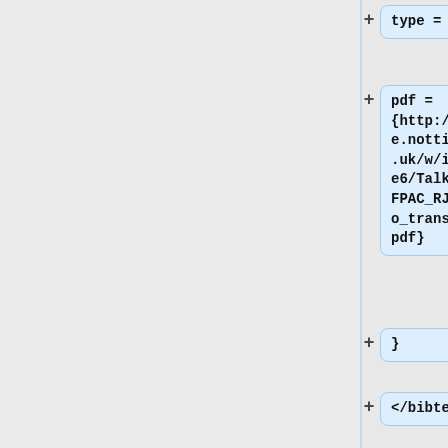type = {Talk},
pdf = {http://optics.eee.nottingham.ac.uk/w/images/e/e6/Talk_2011_AFPAC_RJS_nano_transducers.pdf}
}
</bibtex>
<bibtex>
@techreport{noref,
title = {LU2010 2010 Bordeaux},